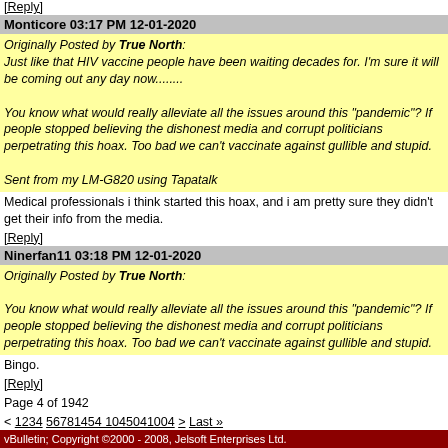[Reply]
Monticore 03:17 PM 12-01-2020
Originally Posted by True North:
Just like that HIV vaccine people have been waiting decades for. I'm sure it will be coming out any day now........

You know what would really alleviate all the issues around this "pandemic"? If people stopped believing the dishonest media and corrupt politicians perpetrating this hoax. Too bad we can't vaccinate against gullible and stupid.

Sent from my LM-G820 using Tapatalk
Medical professionals i think started this hoax, and i am pretty sure they didn't get their info from the media.
[Reply]
Ninerfan11 03:18 PM 12-01-2020
Originally Posted by True North:

You know what would really alleviate all the issues around this "pandemic"? If people stopped believing the dishonest media and corrupt politicians perpetrating this hoax. Too bad we can't vaccinate against gullible and stupid.
Bingo.
[Reply]
Page 4 of 1942
< 1234 56781454 1045041004 > Last »
Up
User Name [input] Password [input] [checkbox] Log in
vBulletin; Copyright ©2000 - 2008, Jelsoft Enterprises Ltd.